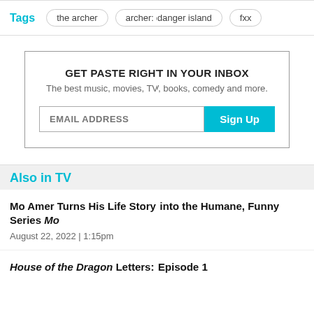Tags   the archer   archer: danger island   fxx
GET PASTE RIGHT IN YOUR INBOX
The best music, movies, TV, books, comedy and more.
EMAIL ADDRESS  Sign Up
Also in TV
Mo Amer Turns His Life Story into the Humane, Funny Series Mo
August 22, 2022  |  1:15pm
House of the Dragon Letters: Episode 1